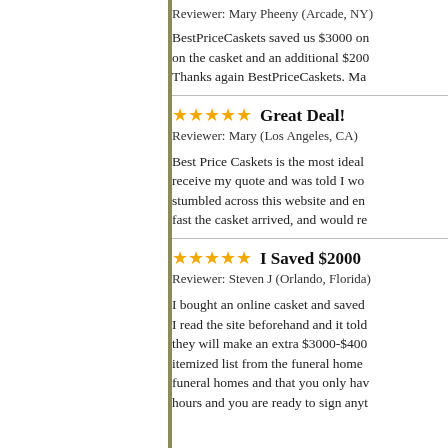Reviewer: Mary Pheeny (Arcade, NY)
BestPriceCaskets saved us $3000 on the casket and an additional $200... Thanks again BestPriceCaskets. Ma...
★★★★★ Great Deal!
Reviewer: Mary (Los Angeles, CA)
Best Price Caskets is the most ideal... receive my quote and was told I wou... stumbled across this website and end... fast the casket arrived, and would re...
★★★★★ I Saved $2000
Reviewer: Steven J (Orlando, Florida)
I bought an online casket and saved... I read the site beforehand and it told... they will make an extra $3000-$400... itemized list from the funeral home... funeral homes and that you only hav... hours and you are ready to sign anyt...